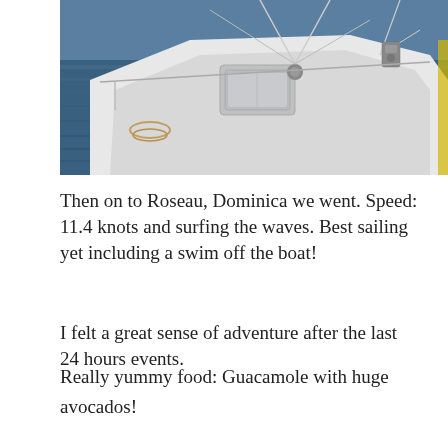[Figure (photo): Aerial view of a sailboat deck with rigging, ropes, and equipment visible; blue ocean water in the background.]
Then on to Roseau, Dominica we went. Speed: 11.4 knots and surfing the waves. Best sailing yet including a swim off the boat!
I felt a great sense of adventure after the last 24 hours events.
Really yummy food: Guacamole with huge avocados!

Fresh salsa – tomato, coriander, onion, garlic, dill, lemon juice.

Bachelor Bolognaise – Mark's speciality. Lentil soup. Tapas, yummy meatballs. Mexican kidney bean tomato stew with coconut style tzatziki and grated carrot all in a wrap. GnT